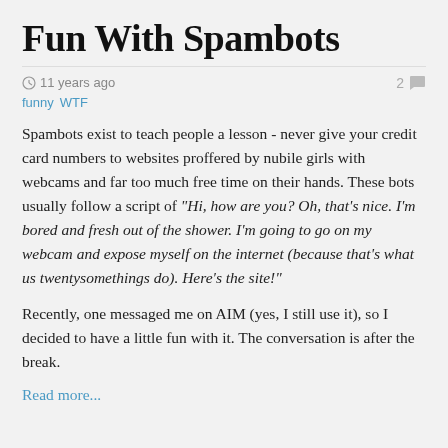Fun With Spambots
11 years ago   2
funny   WTF
Spambots exist to teach people a lesson - never give your credit card numbers to websites proffered by nubile girls with webcams and far too much free time on their hands. These bots usually follow a script of "Hi, how are you? Oh, that's nice. I'm bored and fresh out of the shower. I'm going to go on my webcam and expose myself on the internet (because that's what us twentysomethings do). Here's the site!"
Recently, one messaged me on AIM (yes, I still use it), so I decided to have a little fun with it. The conversation is after the break.
Read more...